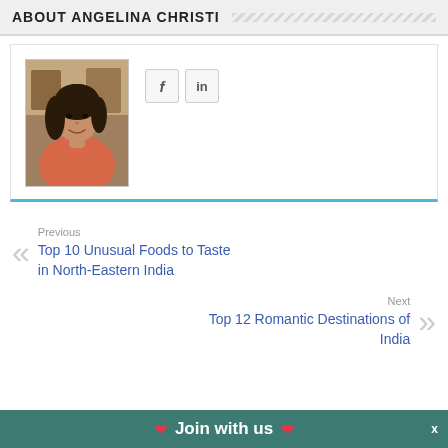ABOUT ANGELINA CHRISTI
[Figure (photo): Portrait photo of Angelina Christi, a woman with dark hair wearing a coral/orange top, seated in a restaurant setting]
f  in (social media icons: Facebook and LinkedIn)
Previous
Top 10 Unusual Foods to Taste in North-Eastern India
Next
Top 12 Romantic Destinations of India
❤ Join with us ❤  x